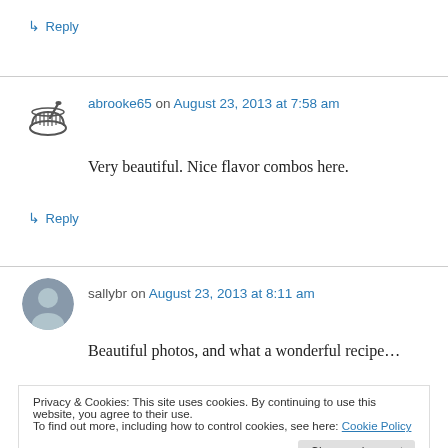↳ Reply
abrooke65 on August 23, 2013 at 7:58 am
Very beautiful. Nice flavor combos here.
↳ Reply
sallybr on August 23, 2013 at 8:11 am
Beautiful photos, and what a wonderful recipe…
Privacy & Cookies: This site uses cookies. By continuing to use this website, you agree to their use.
To find out more, including how to control cookies, see here: Cookie Policy